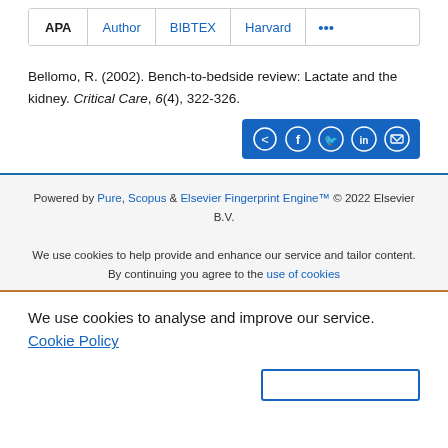[Figure (screenshot): Tab bar with APA (active/bold), Author, BIBTEX, Harvard, and more (ellipsis) citation format tabs]
Bellomo, R. (2002). Bench-to-bedside review: Lactate and the kidney. Critical Care, 6(4), 322-326.
[Figure (infographic): Blue share button bar with share, Facebook, Twitter, LinkedIn, and email icons]
Powered by Pure, Scopus & Elsevier Fingerprint Engine™ © 2022 Elsevier B.V.
We use cookies to help provide and enhance our service and tailor content. By continuing you agree to the use of cookies
We use cookies to analyse and improve our service. Cookie Policy